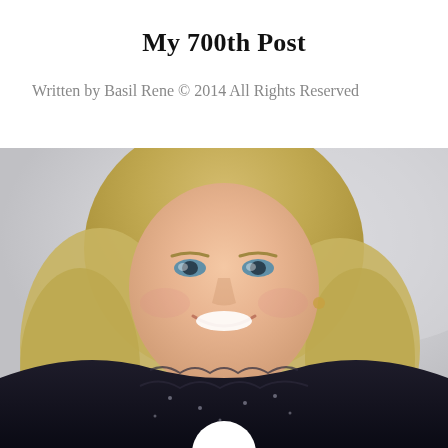My 700th Post
Written by Basil Rene © 2014 All Rights Reserved
[Figure (photo): Portrait photo of a smiling blonde woman with shoulder-length hair, wearing a dark black ruffled jacket and a delicate necklace, photographed against a light grey background.]